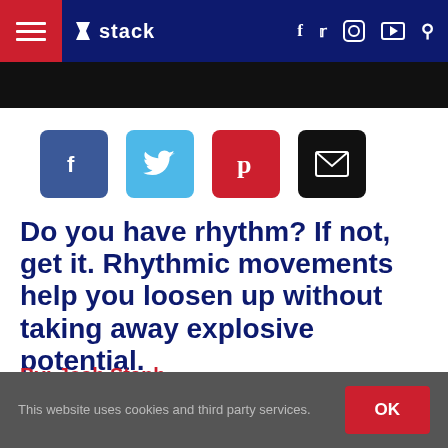stack
[Figure (other): Social share buttons row: Facebook (blue), Twitter (light blue), Pinterest (red), Email (black)]
Do you have rhythm? If not, get it. Rhythmic movements help you loosen up without taking away explosive potential.
By: Josh Staph
This website uses cookies and third party services.